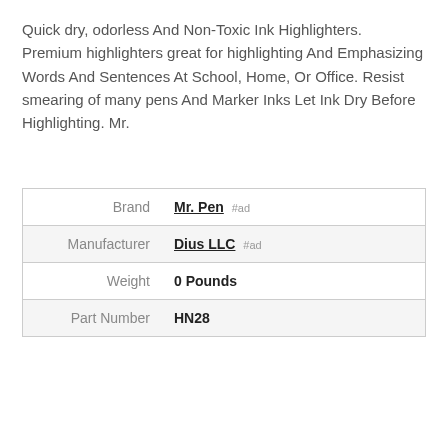Quick dry, odorless And Non-Toxic Ink Highlighters. Premium highlighters great for highlighting And Emphasizing Words And Sentences At School, Home, Or Office. Resist smearing of many pens And Marker Inks Let Ink Dry Before Highlighting. Mr.
|  |  |
| --- | --- |
| Brand | Mr. Pen #ad |
| Manufacturer | Dius LLC #ad |
| Weight | 0 Pounds |
| Part Number | HN28 |
As an Amazon Associate I earn from qualifying purchases. This website uses the only necessary cookies to ensure you get the best experience on our website. More information